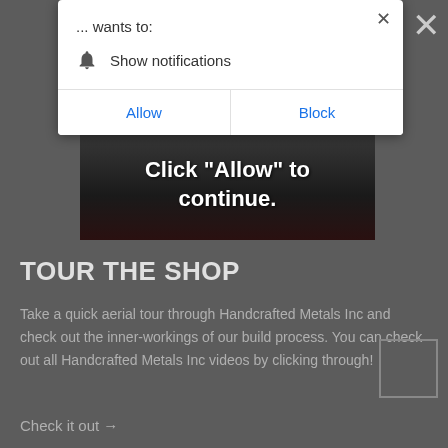[Figure (screenshot): Browser notification permission dialog showing '... wants to:' with a bell icon and 'Show notifications' text, and two buttons: 'Allow' and 'Block']
[Figure (screenshot): Dark video thumbnail area with white text reading 'Click "Allow" to continue.']
TOUR THE SHOP
Take a quick aerial tour through Handcrafted Metals Inc and check out the inner-workings of our build process. You can check out all Handcrafted Metals Inc videos by clicking through!
Check it out →